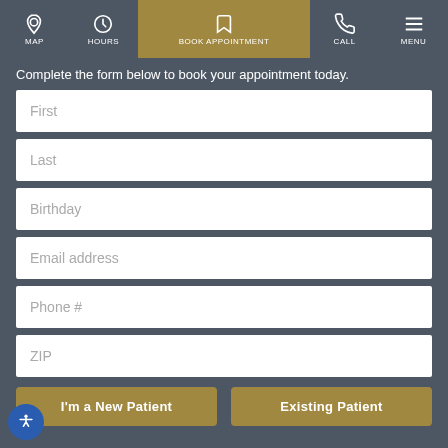MAP | HOURS | BOOK APPOINTMENT | CALL | MENU
Complete the form below to book your appointment today.
First
Last
Birthday
Email address
Phone #
ZIP
I'm a New Patient
Existing Patient